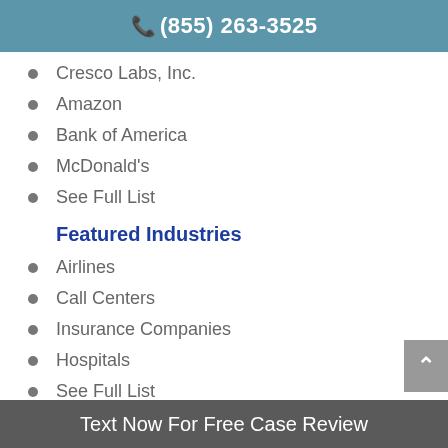(855) 263-3525
Cresco Labs, Inc.
Amazon
Bank of America
McDonald's
See Full List
Featured Industries
Airlines
Call Centers
Insurance Companies
Hospitals
See Full List
Text Now For Free Case Review